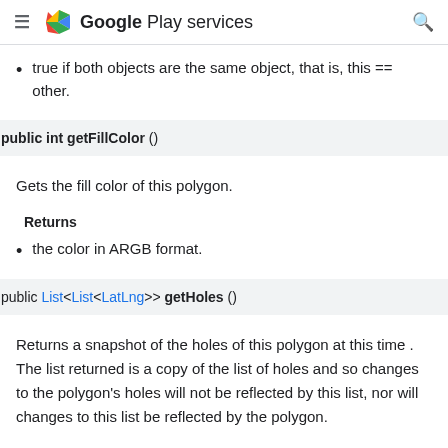Google Play services
true if both objects are the same object, that is, this == other.
public int getFillColor ()
Gets the fill color of this polygon.
Returns
the color in ARGB format.
public List<List<LatLng>> getHoles ()
Returns a snapshot of the holes of this polygon at this time . The list returned is a copy of the list of holes and so changes to the polygon's holes will not be reflected by this list, nor will changes to this list be reflected by the polygon.